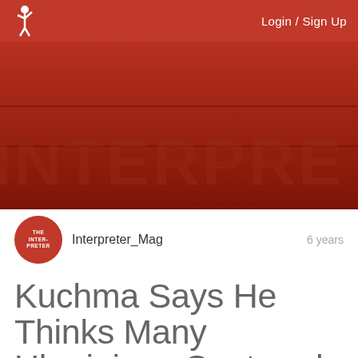Login / Sign Up
[Figure (screenshot): Dark red banner with large watermark text reading 'INTERPRE' (partial)]
Interpreter_Mag   6 years
Kuchma Says He Thinks Many Ukrainians Captured By Separatists Are